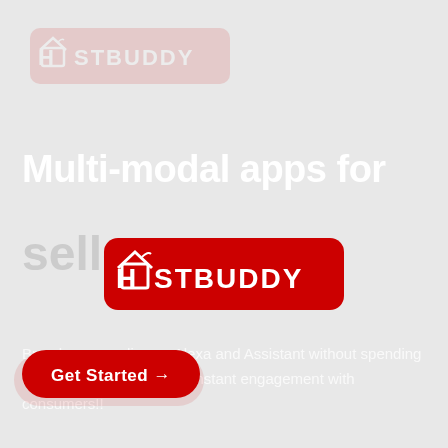[Figure (logo): HostBuddy logo faded in background at top]
Multi-modal apps for
sellers
[Figure (logo): HostBuddy red logo centered]
Brands, can go live on Alexa and Assistant without spending millions of dollars and for instant engagement with consumers!!
Get Started →